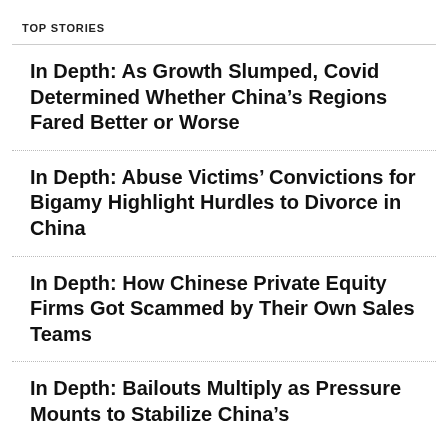TOP STORIES
In Depth: As Growth Slumped, Covid Determined Whether China’s Regions Fared Better or Worse
In Depth: Abuse Victims’ Convictions for Bigamy Highlight Hurdles to Divorce in China
In Depth: How Chinese Private Equity Firms Got Scammed by Their Own Sales Teams
In Depth: Bailouts Multiply as Pressure Mounts to Stabilize China’s